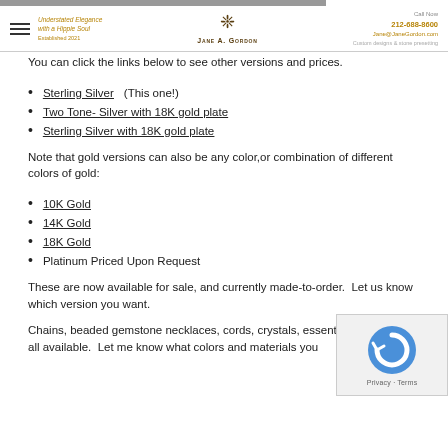Hamburger menu | Understated Elegance with a Hippie Soul | Established 2021 | Jane A. Gordon logo | Call Now 212-688-8600 | Jane@JaneGordon.com | Custom designs & stone presetting
You can click the links below to see other versions and prices.
Sterling Silver (This one!)
Two Tone- Silver with 18K gold plate
Sterling Silver with 18K gold plate
Note that gold versions can also be any color,or combination of different colors of gold:
10K Gold
14K Gold
18K Gold
Platinum Priced Upon Request
These are now available for sale, and currently made-to-order.  Let us know which version you want.
Chains, beaded gemstone necklaces, cords, crystals, essential oils, etc are all available.  Let me know what colors and materials you